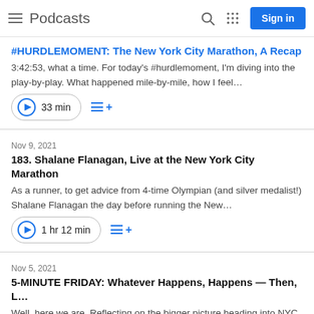Podcasts | Sign in
#HURDLEMOMENT: The New York City Marathon, A Recap
3:42:53, what a time. For today's #hurdlemoment, I'm diving into the play-by-play. What happened mile-by-mile, how I feel…
33 min
Nov 9, 2021
183. Shalane Flanagan, Live at the New York City Marathon
As a runner, to get advice from 4-time Olympian (and silver medalist!) Shalane Flanagan the day before running the New…
1 hr 12 min
Nov 5, 2021
5-MINUTE FRIDAY: Whatever Happens, Happens — Then, L…
Well, here we are. Reflecting on the bigger picture heading into NYC Marathon weekend, with a lot of fun stuff on deck (aside…